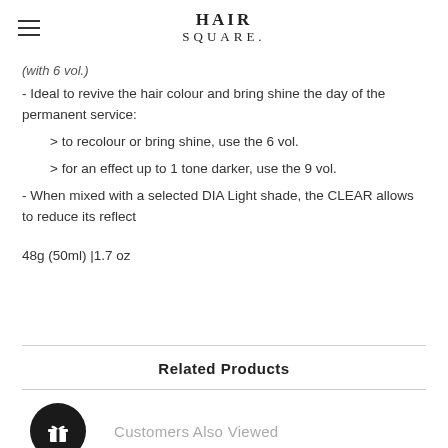HAIR SQUARE
(with 6 vol.)
- Ideal to revive the hair colour and bring shine the day of the permanent service:
  > to recolour or bring shine, use the 6 vol.
  > for an effect up to 1 tone darker, use the 9 vol.
- When mixed with a selected DIA Light shade, the CLEAR allows to reduce its reflect
48g (50ml) |1.7 oz
Related Products
Customers Also Viewed